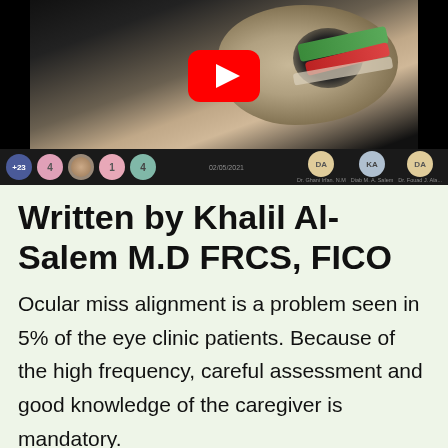[Figure (screenshot): Screenshot of a YouTube video thumbnail showing a 3D anatomical illustration of an eye socket/orbit with muscles (green and red), overlaid with a YouTube play button. Below the video frame is a dark participants bar showing multiple avatars including +23, 4, a photo, 1, 4, DA, KA, DA participant indicators.]
Written by Khalil Al-Salem M.D FRCS, FICO
Ocular miss alignment is a problem seen in 5% of the eye clinic patients. Because of the high frequency, careful assessment and good knowledge of the caregiver is mandatory.